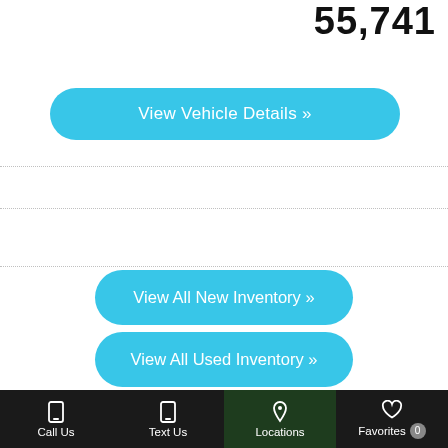55,741
View Vehicle Details »
View All New Inventory »
View All Used Inventory »
Call Us | Text Us | Locations | Favorites 0